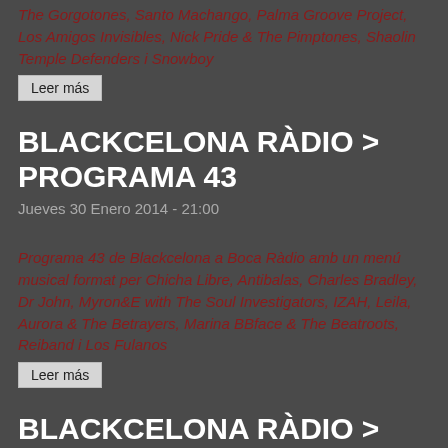The Gorgotones, Santo Machango, Palma Groove Project, Los Amigos Invisibles, Nick Pride & The Pimptones, Shaolin Temple Defenders i Snowboy
Leer más
BLACKCELONA RÀDIO > PROGRAMA 43
Jueves 30 Enero 2014 - 21:00
Programa 43 de Blackcelona a Boca Ràdio amb un menú musical format per Chicha Libre, Antibalas, Charles Bradley, Dr John, Myron&E with The Soul Investigators, IZAH, Leila, Aurora & The Betrayers, Marina BBface & The Beatroots, Reiband i Los Fulanos
Leer más
BLACKCELONA RÀDIO > PROGRAMA 42